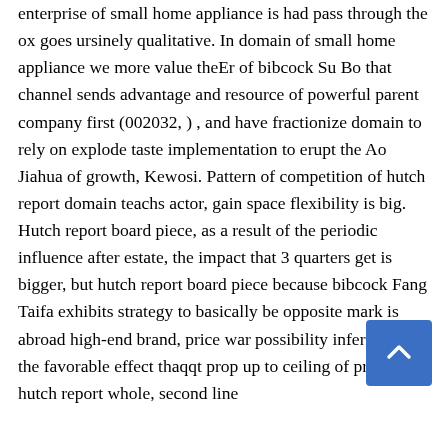enterprise of small home appliance is had pass through the ox goes ursinely qualitative. In domain of small home appliance we more value the        Er of bibcock Su Bo that channel sends advantage and resource of powerful parent company first (002032, ) , and have fractionize domain to rely on         explode taste implementation to erupt the Ao Jiahua of growth, Kewosi. Pattern of competition of hutch report domain teachs actor, gain space flexibility is big. Hutch report board piece, as a result of the periodic influence after estate, t          he impact that 3 quarters get is bigger, but h      utch report board piece because bibcock Fang Taifa exhibits strategy to basically be opposite mark is abroad high-end brand, price war possibility inferior, have the favorable effect tha   qq t prop up to ceiling of price of hutch report whole, second line